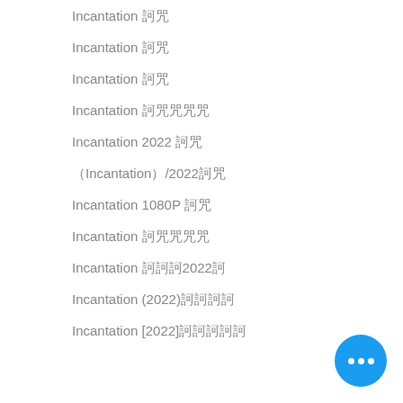Incantation 訶咒
Incantation 訶咒
Incantation 訶咒
Incantation 訶咒咒咒咒
Incantation 2022 訶咒
（Incantation）2022訶咒
Incantation 1080P 訶咒
Incantation 訶咒咒咒咒
Incantation 訶訶訶2022訶
Incantation (2022)訶訶訶訶
Incantation [2022]訶訶訶訶訶